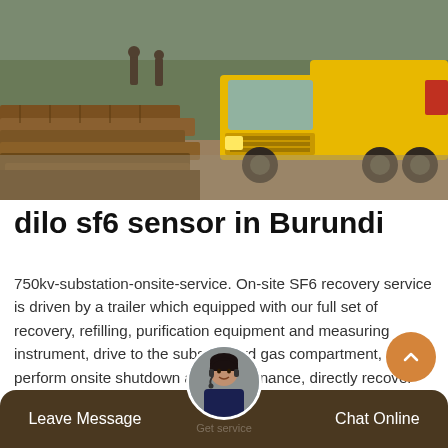[Figure (photo): Construction scene with yellow truck and stacked wooden logs/materials on a road or worksite]
dilo sf6 sensor in Burundi
750kv-substation-onsite-service. On-site SF6 recovery service is driven by a trailer which equipped with our full set of recovery, refilling, purification equipment and measuring instrument, drive to the substandard gas compartment, perform onsite shutdown and maintenance, directly recover unqualified SF6 gas, recycle and purify them to be qualified and then return to gas compartment, the
Leave Message   Chat Online